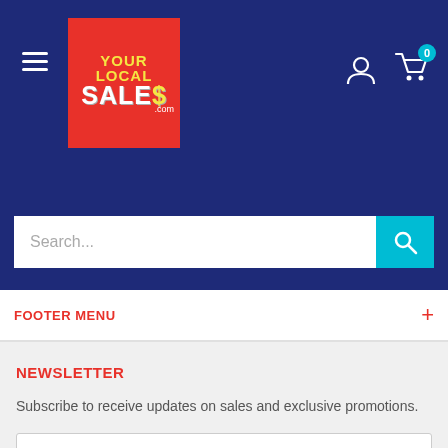[Figure (logo): YOUR LOCAL SALES.com logo — red square background with yellow YOUR LOCAL text and white SALES text with yellow dollar sign]
FOOTER MENU
NEWSLETTER
Subscribe to receive updates on sales and exclusive promotions.
Your email
Subscribe